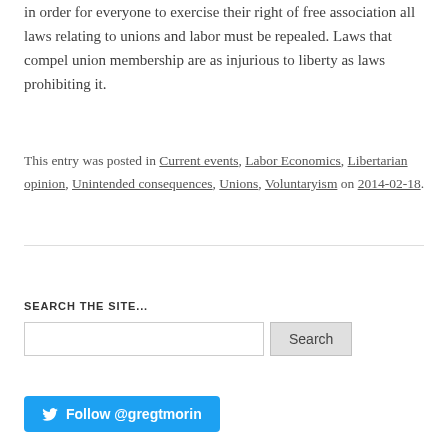in order for everyone to exercise their right of free association all laws relating to unions and labor must be repealed. Laws that compel union membership are as injurious to liberty as laws prohibiting it.
This entry was posted in Current events, Labor Economics, Libertarian opinion, Unintended consequences, Unions, Voluntaryism on 2014-02-18.
SEARCH THE SITE...
Search button with input field
Follow @gregtmorin